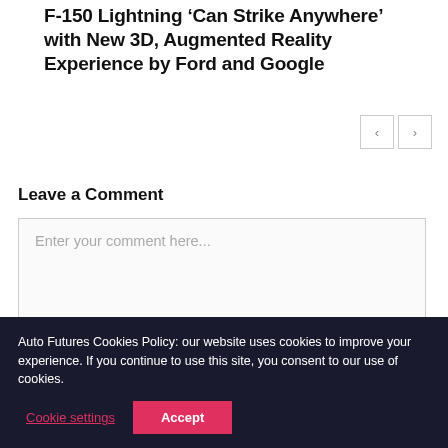F-150 Lightning ‘Can Strike Anywhere’ with New 3D, Augmented Reality Experience by Ford and Google
Leave a Comment
Enter your comment here...
Auto Futures Cookies Policy: our website uses cookies to improve your experience. If you continue to use this site, you consent to our use of cookies.